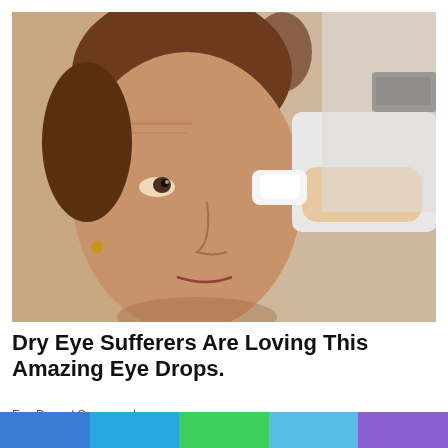[Figure (photo): A middle-aged woman having eye drops administered by a healthcare professional. The doctor's hand holds a small white dropper/tissue near the woman's eye. The woman looks upward. Background is light/blurred.]
Dry Eye Sufferers Are Loving This Amazing Eye Drops.
Eye Drops | Sponsored
[Figure (photo): Partial view of a second advertisement card. Left portion shows a dark image, right portion shows a light blue/sky image. An orange square appears in the upper right corner. Bottom of page shows five colored horizontal strips: blue, light blue, green, light blue, purple.]